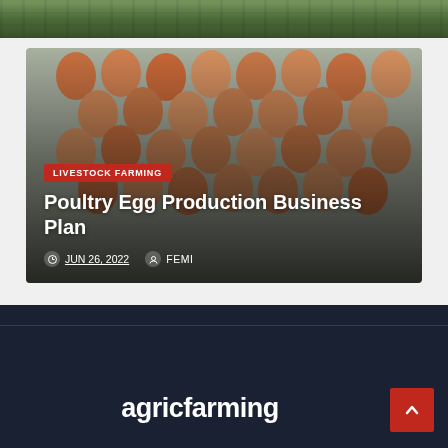[Figure (photo): Partial photo strip of outdoor scene with green/brown tones at top of page]
[Figure (photo): Photo of brown eggs arranged in cartons/trays, used as card background image]
LIVESTOCK FARMING
Poultry Egg Production Business Plan
JUN 26, 2022  FEMI
agricfarming